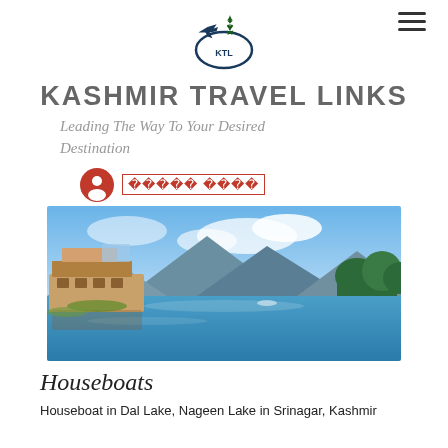[Figure (logo): KTL (Kashmir Travel Links) circular logo with airplane and maple leaf, dark blue/teal colors]
KASHMIR TRAVEL LINKS
Leading The Way To Your Desired Destination
????  ????
[Figure (photo): Houseboat on Dal Lake in Srinagar, Kashmir with mountains and blue sky reflected in calm water]
Houseboats
Houseboat in Dal Lake, Nageen Lake in Srinagar, Kashmir